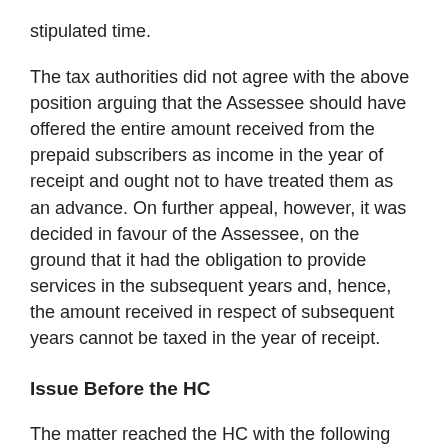stipulated time.
The tax authorities did not agree with the above position arguing that the Assessee should have offered the entire amount received from the prepaid subscribers as income in the year of receipt and ought not to have treated them as an advance. On further appeal, however, it was decided in favour of the Assessee, on the ground that it had the obligation to provide services in the subsequent years and, hence, the amount received in respect of subsequent years cannot be taxed in the year of receipt.
Issue Before the HC
The matter reached the HC with the following query: